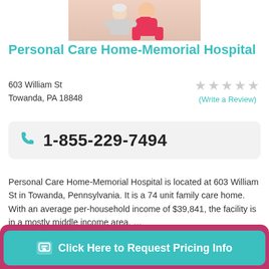[Figure (photo): Photo of caregiving scene — person in pink clothing with elderly patient]
Personal Care Home-Memorial Hospital
603 William St
Towanda, PA 18848
★★★★★ (Write a Review)
1-855-229-7494
Personal Care Home-Memorial Hospital is located at 603 William St in Towanda, Pennsylvania. It is a 74 unit family care home. With an average per-household income of $39,841, the facility is in a mostly middle income area. …
27 miles away from Elmira, NY
Click Here to Request Pricing Info